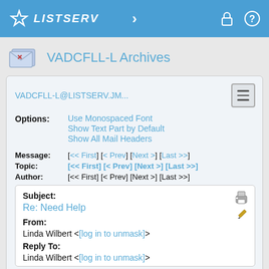LISTSERV
VADCFLL-L Archives
VADCFLL-L@LISTSERV.JM...
Options: Use Monospaced Font | Show Text Part by Default | Show All Mail Headers
Message: [<< First] [< Prev] [Next >] [Last >>]
Topic: [<< First] [< Prev] [Next >] [Last >>]
Author: [<< First] [< Prev] [Next >] [Last >>]
Subject: Re: Need Help
From: Linda Wilbert <[log in to unmask]>
Reply To: Linda Wilbert <[log in to unmask]>